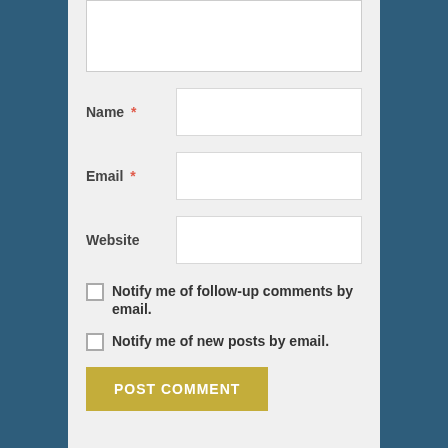[textarea for comment]
Name *
Email *
Website
Notify me of follow-up comments by email.
Notify me of new posts by email.
POST COMMENT